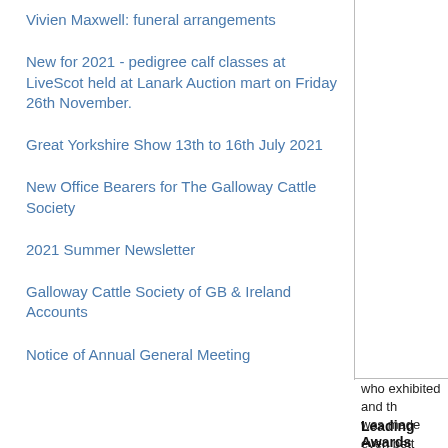Vivien Maxwell: funeral arrangements
New for 2021 - pedigree calf classes at LiveScot held at Lanark Auction mart on Friday 26th November.
Great Yorkshire Show 13th to 16th July 2021
New Office Bearers for The Galloway Cattle Society
2021 Summer Newsletter
Galloway Cattle Society of GB & Ireland Accounts
Notice of Annual General Meeting
who exhibited and th was made even bett
Leading Awards